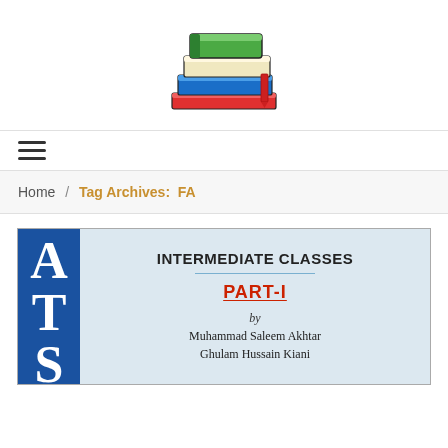[Figure (illustration): Stack of colorful books logo: green, beige, blue, and red books stacked, cartoon style]
[Figure (other): Hamburger menu icon (three horizontal lines)]
Home / Tag Archives: FA
[Figure (photo): Book cover showing blue spine with letters A, T, S, and main area with text: INTERMEDIATE CLASSES, PART-I (in red), by Muhammad Saleem Akhtar, Ghulam Hussain Kiani]